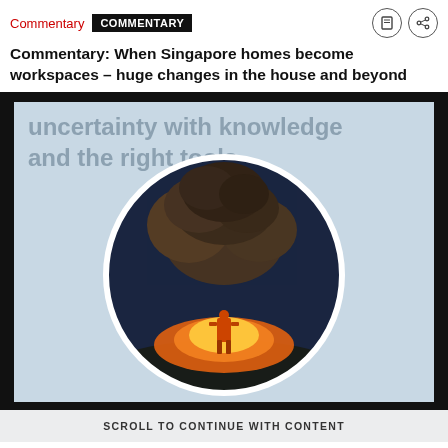Commentary  COMMENTARY
Commentary: When Singapore homes become workspaces – huge changes in the house and beyond
[Figure (photo): Advertisement banner with light blue-grey background showing text 'uncertainty with knowledge and the right tools.' and a circular photo of a person in an orange jumpsuit standing in front of a massive explosion/fire with dark smoke cloud. Black bars frame the top and sides of the ad banner.]
SCROLL TO CONTINUE WITH CONTENT